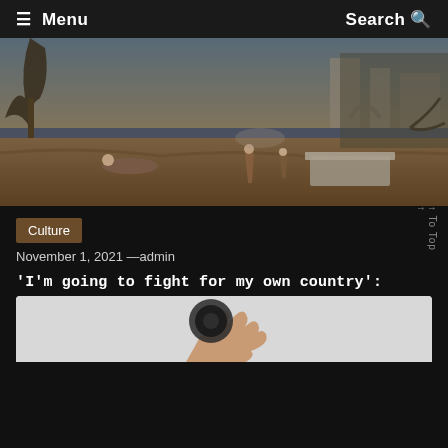☰ Menu   Search 🔍
[Figure (illustration): Classical painting showing ruins, figures resting on ground near trees, a landscape with ancient stone structures and a sarcophagus or altar in background under dramatic sky]
Culture
November 1, 2021 —admin
'I'm going to fight for my own country': Trump's son-in-law, who's on the brink of the presidency, calls for a #MAGA rally
Tagged art com , cubism art , emoji art , tony podesta art
[Figure (photo): Partial view of a hand holding something, photo cut off at bottom edge]